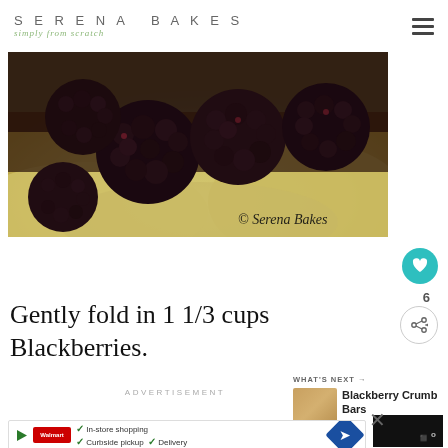SERENA BAKES simply from scratch
[Figure (photo): Close-up photo of blackberries on top of cream/frosting with copyright watermark '© Serena Bakes']
Gently fold in 1 1/3 cups Blackberries.
ADVERTISEMENT
WHAT'S NEXT → Blackberry Crumb Bars
[Figure (screenshot): Advertisement banner showing In-store shopping, Curbside pickup, Delivery with Walmart logo and navigation icon]